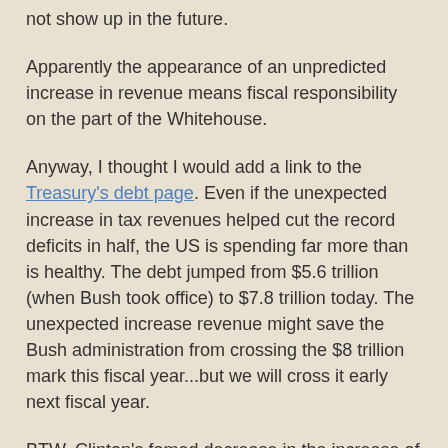not show up in the future.
Apparently the appearance of an unpredicted increase in revenue means fiscal responsibility on the part of the Whitehouse.
Anyway, I thought I would add a link to the Treasury's debt page. Even if the unexpected increase in tax revenues helped cut the record deficits in half, the US is spending far more than is healthy. The debt jumped from $5.6 trillion (when Bush took office) to $7.8 trillion today. The unexpected increase revenue might save the Bush administration from crossing the $8 trillion mark this fiscal year...but we will cross it early next fiscal year.
BTW, Clinton's famed decrease in the increase of the budget and his famed budget surplus happened for the same unexpected increase in revenue. Clinton's suplus occurred because the stock market hit the stratosphere.
The Whitehouse simply has to stop this game of taking credit for leaps and dips in the stock market. Everytime there